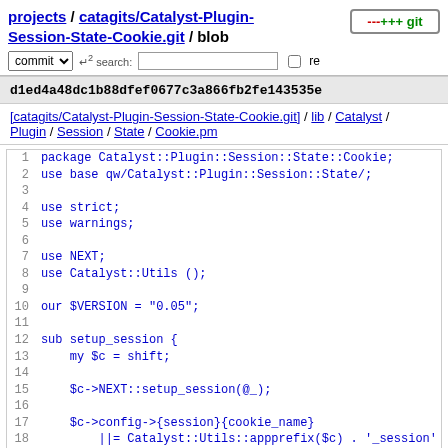projects / catagits/Catalyst-Plugin-Session-State-Cookie.git / blob
d1ed4a48dc1b88dfef0677c3a866fb2fe143535e
[catagits/Catalyst-Plugin-Session-State-Cookie.git] / lib / Catalyst / Plugin / Session / State / Cookie.pm
1 package Catalyst::Plugin::Session::State::Cookie;
2 use base qw/Catalyst::Plugin::Session::State/;
3
4 use strict;
5 use warnings;
6
7 use NEXT;
8 use Catalyst::Utils ();
9
10 our $VERSION = "0.05";
11
12 sub setup_session {
13     my $c = shift;
14
15     $c->NEXT::setup_session(@_);
16
17     $c->config->{session}{cookie_name}
18         ||= Catalyst::Utils::appprefix($c) . '_session'
19 }